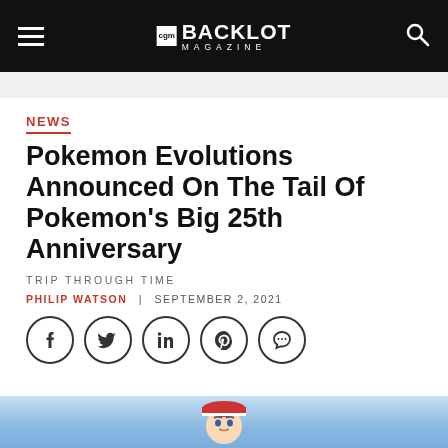BACKLOT MAGAZINE
NEWS
Pokemon Evolutions Announced On The Tail Of Pokemon's Big 25th Anniversary
TRIP THROUGH TIME
PHILIP WATSON | SEPTEMBER 2, 2021
[Figure (other): Social sharing buttons: Facebook, Twitter, LinkedIn, Pinterest, Chat/Comment]
[Figure (illustration): Anime-style character (Pokemon trainer with pink/red hat) against a blue sky background, partially visible at bottom of page]